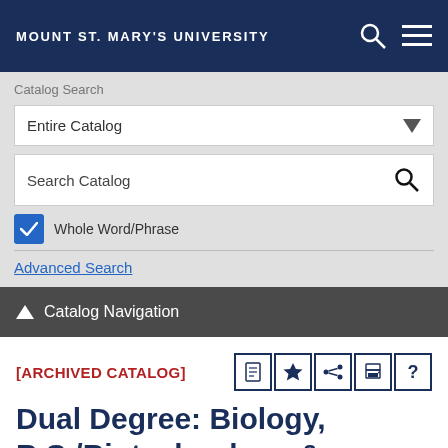MOUNT ST. MARY'S UNIVERSITY
Catalog Search
Entire Catalog
Search Catalog
Whole Word/Phrase
Advanced Search
Catalog Navigation
[ARCHIVED CATALOG]
Dual Degree: Biology, B.S./Biotechnology &